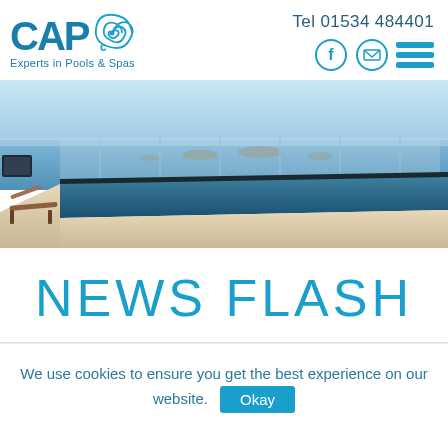[Figure (logo): CAPC logo with swirl graphic and tagline 'Experts in Pools & Spas']
Tel 01534 484401
[Figure (infographic): Social icons: Facebook circle, email circle, hamburger menu lines]
[Figure (photo): Infinity pool overlooking the ocean with glass fence railing, lounge chair visible on left, rocky coastline in background]
NEWS FLASH
We use cookies to ensure you get the best experience on our website. Okay